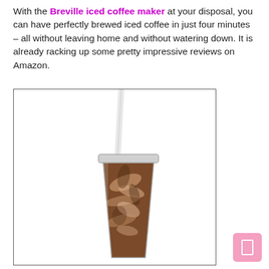With the Breville iced coffee maker at your disposal, you can have perfectly brewed iced coffee in just four minutes – all without leaving home and without watering down. It is already racking up some pretty impressive reviews on Amazon.
[Figure (photo): A tall clear plastic tumbler cup filled with iced coffee showing swirls of cream and coffee, with a white straw inserted through the lid, on a white background inside a thin black border box.]